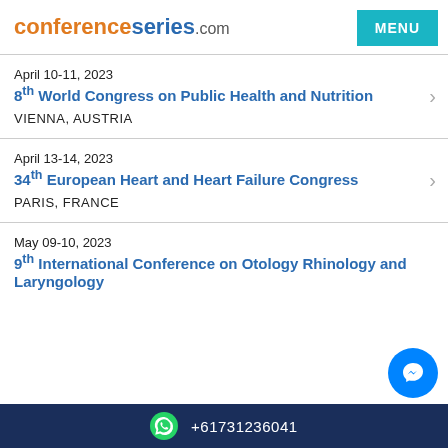conferenceseries.com
April 10-11, 2023
8th World Congress on Public Health and Nutrition
VIENNA, AUSTRIA
April 13-14, 2023
34th European Heart and Heart Failure Congress
PARIS, FRANCE
May 09-10, 2023
9th International Conference on Otology Rhinology and Laryngology
+61731236041